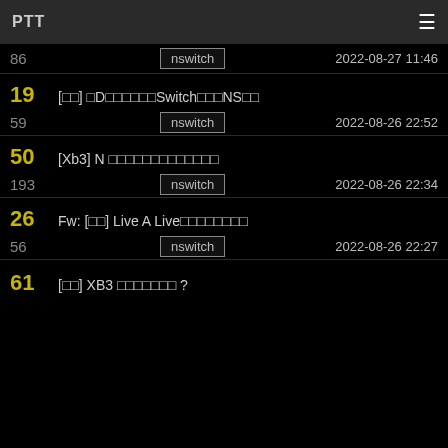PTT
86 | nswitch | 2022-08-27 11:46
19 | [□□] □D□□□□□□□Switch□□□NS□□ | 59 | nswitch | 2022-08-26 22:52
50 | [Xb3] N □□□□□□□□□□□□□ | 193 | nswitch | 2022-08-26 22:34
26 | Fw: [□□] Live A Live□□□□□□□□ | 56 | nswitch | 2022-08-26 22:27
61 | [□□] XB3 □□□□□□□ ?